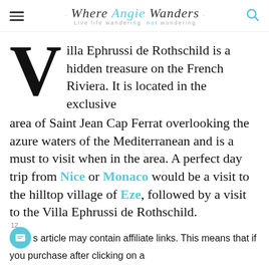Where Angie Wanders · Live life wandering not wondering
Villa Ephrussi de Rothschild is a hidden treasure on the French Riviera. It is located in the exclusive area of Saint Jean Cap Ferrat overlooking the azure waters of the Mediterranean and is a must to visit when in the area. A perfect day trip from Nice or Monaco would be a visit to the hilltop village of Eze, followed by a visit to the Villa Ephrussi de Rothschild.
This article may contain affiliate links. This means that if you purchase after clicking on a